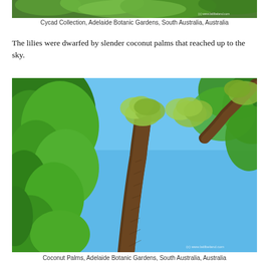[Figure (photo): Partial top view of green tropical plant leaves against a bright background, cropped at top of page. Copyright watermark: (c) www.latilbeland.com]
Cycad Collection, Adelaide Botanic Gardens, South Australia, Australia
The lilies were dwarfed by slender coconut palms that reached up to the sky.
[Figure (photo): Upward-looking photo of tall coconut palm trees against blue sky, with lush green tree on the left. The slender brown trunk of a palm dominates the center. Copyright watermark: (c) www.latilbeland.com]
Coconut Palms, Adelaide Botanic Gardens, South Australia, Australia